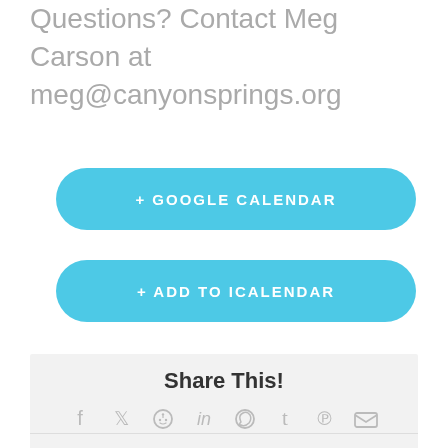Questions? Contact Meg Carson at meg@canyonsprings.org
+ GOOGLE CALENDAR
+ ADD TO ICALENDAR
Share This!
[Figure (infographic): Row of social media share icons: Facebook, Twitter, Reddit, LinkedIn, WhatsApp, Tumblr, Pinterest, Email]